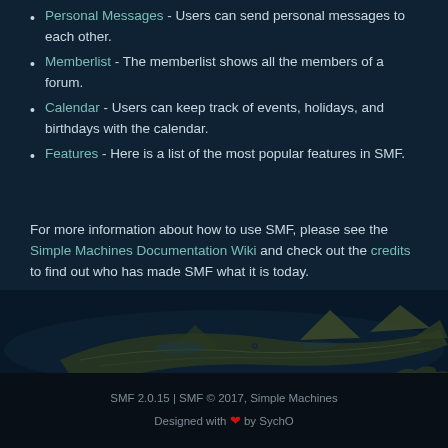Personal Messages - Users can send personal messages to each other.
Memberlist - The memberlist shows all the members of a forum.
Calendar - Users can keep track of events, holidays, and birthdays with the calendar.
Features - Here is a list of the most popular features in SMF.
For more information about how to use SMF, please see the Simple Machines Documentation Wiki and check out the credits to find out who has made SMF what it is today.
SMF 2.0.15 | SMF © 2017, Simple Machines
Designed with ❤ by SychO